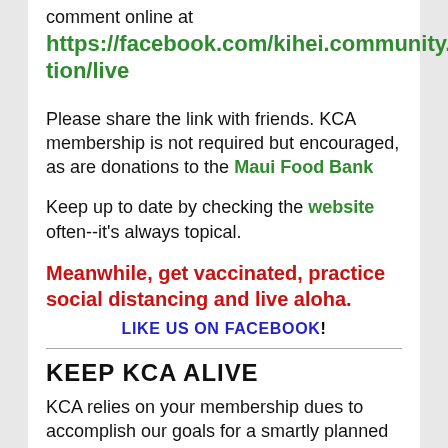comment online at https://facebook.com/kihei.community.association/live
Please share the link with friends. KCA membership is not required but encouraged, as are donations to the Maui Food Bank
Keep up to date by checking the website often--it's always topical.
Meanwhile, get vaccinated, practice social distancing and live aloha.
LIKE US ON FACEBOOK!
KEEP KCA ALIVE
KCA relies on your membership dues to accomplish our goals for a smartly planned community. Well-managed traffic, drainage, safe walking and biking routes, community